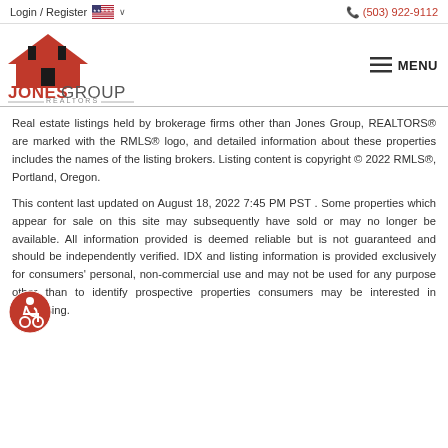Login / Register   🇺🇸 ∨    (503) 922-9112
[Figure (logo): Jones Group Realtors logo with red house/roof icon above text JONES GROUP REALTORS]
Real estate listings held by brokerage firms other than Jones Group, REALTORS® are marked with the RMLS® logo, and detailed information about these properties includes the names of the listing brokers. Listing content is copyright © 2022 RMLS®, Portland, Oregon.
This content last updated on August 18, 2022 7:45 PM PST . Some properties which appear for sale on this site may subsequently have sold or may no longer be available. All information provided is deemed reliable but is not guaranteed and should be independently verified. IDX and listing information is provided exclusively for consumers' personal, non-commercial use and may not be used for any purpose other than to identify prospective properties consumers may be interested in purchasing.